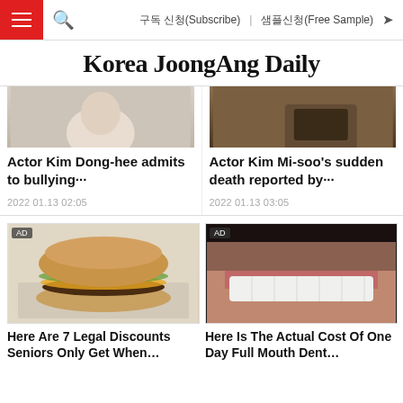Korea JoongAng Daily — navigation bar with hamburger menu, search, 구독 신청(Subscribe), 샘플신청(Free Sample), share icon
Korea JoongAng Daily
Actor Kim Dong-hee admits to bullying···
2022 01.13 02:05
Actor Kim Mi-soo's sudden death reported by···
2022 01.13 03:05
[Figure (photo): AD — photo of a hamburger/cheeseburger on foil wrapper]
Here Are 7 Legal Discounts Seniors Only Get When…
[Figure (photo): AD — close-up photo of a man's mouth showing white teeth and mustache]
Here Is The Actual Cost Of One Day Full Mouth Dent…